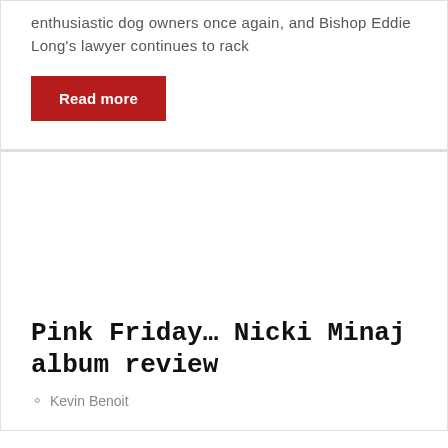enthusiastic dog owners once again, and Bishop Eddie Long's lawyer continues to rack
Read more
[Figure (photo): Blank/white image placeholder for article]
Pink Friday… Nicki Minaj album review
Kevin Benoit